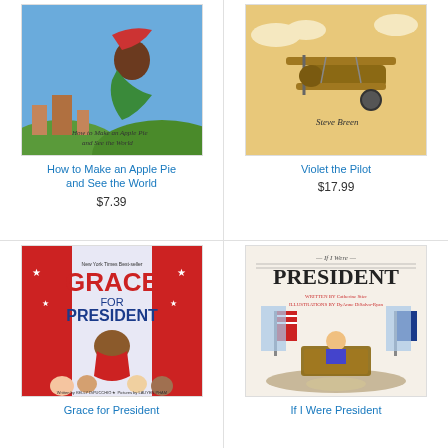[Figure (illustration): Book cover: How to Make an Apple Pie and See the World - colorful illustrated children's book cover showing a girl in a green dress flying]
How to Make an Apple Pie and See the World
$7.39
[Figure (illustration): Book cover: Violet the Pilot - illustrated children's book cover showing a biplane with Steve Breen author credit]
Violet the Pilot
$17.99
[Figure (illustration): Book cover: Grace for President - New York Times Best Seller, illustrated cover showing a girl in red white and blue presidential sash]
Grace for President
[Figure (illustration): Book cover: If I Were President - illustrated cover showing a child sitting at the Oval Office desk, written by Catherine Stier, illustrated by DyAnne DiSalvo-Ryan]
If I Were President